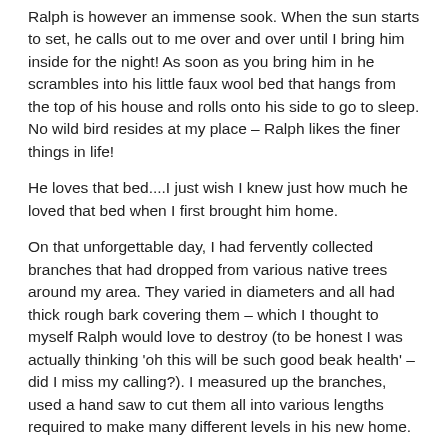Ralph is however an immense sook.  When the sun starts to set, he calls out to me over and over until I bring him inside for the night!  As soon as you bring him in he scrambles into his little faux wool bed that hangs from the top of his house and rolls onto his side to go to sleep.  No wild bird resides at my place – Ralph likes the finer things in life!
He loves that bed....I just wish I knew just how much he loved that bed when I first brought him home.
On that unforgettable day, I had fervently collected branches that had dropped from various native trees around my area.  They varied in diameters and all had thick rough bark covering them – which I thought to myself Ralph would love to destroy (to be honest I was actually thinking 'oh this will be such good beak health' – did I miss my calling?).  I measured up the branches, used a hand saw to cut them all into various lengths required to make many different levels in his new home.
After then carefully placing all of the branches, native flowers and